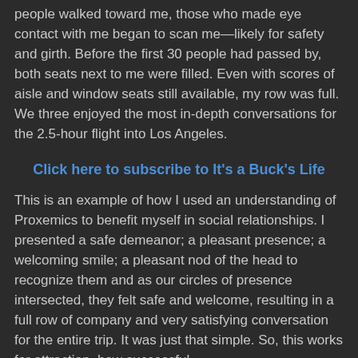people walked toward me, those who made eye contact with me began to scan me—likely for safety and girth.  Before the first 30 people had passed by, both seats next to me were filled.  Even with scores of aisle and window seats still available, my row was full.  We three enjoyed the most in-depth conversations for the 2.5-hour flight into Los Angeles.
Click here to subscribe to It's a Buck's Life
This is an example of how I used an understanding of Proxemics to benefit myself in social relationships.  I presented a safe demeanor; a pleasant presence; a welcoming smile; a pleasant nod of the head to recognize them and as our circles of presence intersected, they felt safe and welcome, resulting in a full row of company and very satisfying conversation for the entire trip.  It was just that simple.  So, this works for attraction, how successful